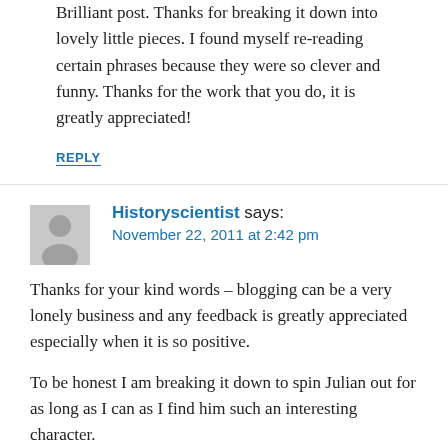Brilliant post. Thanks for breaking it down into lovely little pieces. I found myself re-reading certain phrases because they were so clever and funny. Thanks for the work that you do, it is greatly appreciated!
REPLY
Historyscientist says: November 22, 2011 at 2:42 pm
Thanks for your kind words – blogging can be a very lonely business and any feedback is greatly appreciated especially when it is so positive.
To be honest I am breaking it down to spin Julian out for as long as I can as I find him such an interesting character.
REPLY